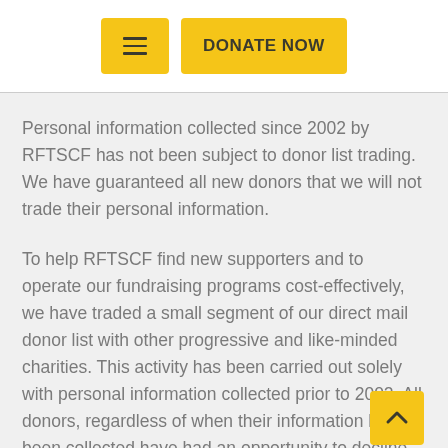[Figure (screenshot): Navigation bar with hamburger menu button and yellow DONATE NOW button]
Personal information collected since 2002 by RFTSCF has not been subject to donor list trading. We have guaranteed all new donors that we will not trade their personal information.
To help RFTSCF find new supporters and to operate our fundraising programs cost-effectively, we have traded a small segment of our direct mail donor list with other progressive and like-minded charities. This activity has been carried out solely with personal information collected prior to 2002. All donors, regardless of when their information has been collected have had an opportunity to decline and donors may opt out of this arrangement at any time. Donors and supporters will, from time to time, continue to be provided with a simple opt out option